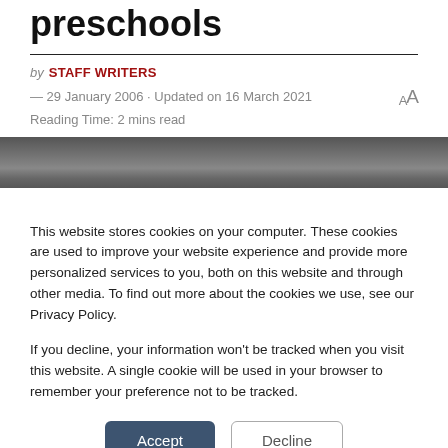preschools
by STAFF WRITERS
— 29 January 2006 · Updated on 16 March 2021
Reading Time: 2 mins read
[Figure (photo): Dark blurred photograph, partially visible behind cookie overlay]
This website stores cookies on your computer. These cookies are used to improve your website experience and provide more personalized services to you, both on this website and through other media. To find out more about the cookies we use, see our Privacy Policy.

If you decline, your information won't be tracked when you visit this website. A single cookie will be used in your browser to remember your preference not to be tracked.